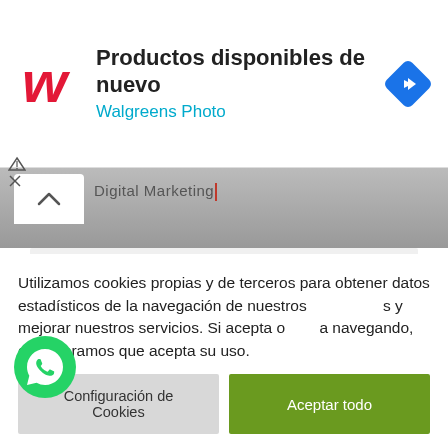[Figure (screenshot): Walgreens Photo advertisement banner with logo, title 'Productos disponibles de nuevo', subtitle 'Walgreens Photo', and a blue navigation arrow icon]
[Figure (screenshot): Dark grey header bar with a chevron up (collapse) button and 'Digital Marketing' text with red cursor]
Email Address
Escribe tu comentario
Utilizamos cookies propias y de terceros para obtener datos estadísticos de la navegación de nuestros usuarios y mejorar nuestros servicios. Si acepta o continúa navegando, consideramos que acepta su uso.
Configuración de Cookies
Aceptar todo